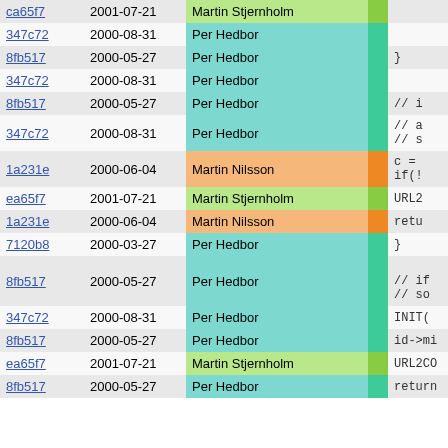| hash | date | author | bar | code |
| --- | --- | --- | --- | --- |
| ca65f7 | 2001-07-21 | Martin Stjernholm |  |  |
| 347c72 | 2000-08-31 | Per Hedbor |  |  |
| 8fb517 | 2000-05-27 | Per Hedbor |  | } |
| 347c72 | 2000-08-31 | Per Hedbor |  |  |
| 8fb517 | 2000-05-27 | Per Hedbor |  | // i |
| 347c72 | 2000-08-31 | Per Hedbor |  | // a
// s |
| 1a231e | 2000-06-04 | Martin Nilsson |  | c =
if(! |
| ea65f7 | 2001-07-21 | Martin Stjernholm |  | URL2 |
| 1a231e | 2000-06-04 | Martin Nilsson |  | retu |
| 7120b8 | 2000-03-27 | Per Hedbor |  | } |
| 8fb517 | 2000-05-27 | Per Hedbor |  | // if
// so |
| 347c72 | 2000-08-31 | Per Hedbor |  | INIT( |
| 8fb517 | 2000-05-27 | Per Hedbor |  | id->mi |
| ea65f7 | 2001-07-21 | Martin Stjernholm |  | URL2CO |
| 8fb517 | 2000-05-27 | Per Hedbor |  | return |